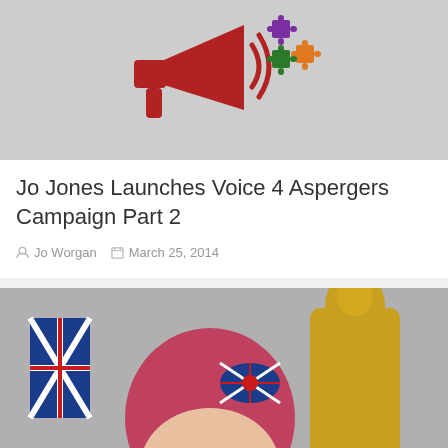[Figure (illustration): Red megaphone with colorful puzzle pieces (purple, orange, green) coming out of it, on a light gray background]
Jo Jones Launches Voice 4 Aspergers Campaign Part 2
Jo Worgan   March 25, 2014
[Figure (photo): Woman with red/pink hair wearing a Union Jack bow headband, with a gold Oscar statue visible in the background, outdoors]
Inspiring Women with Autism – Jessica-Jane